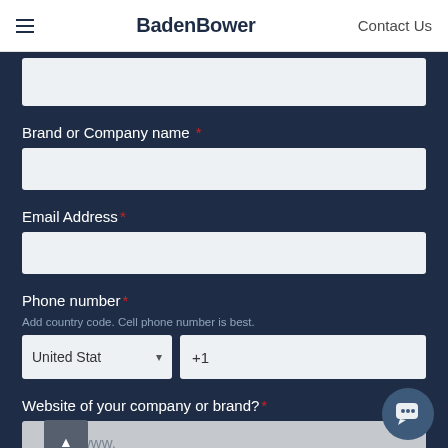BadenBower | Contact Us
Brand or Company name *
Email Address *
Phone number *
Add country code. Cell phone number is best.
United Stat ▾  +1
Website of your company or brand? *
www.